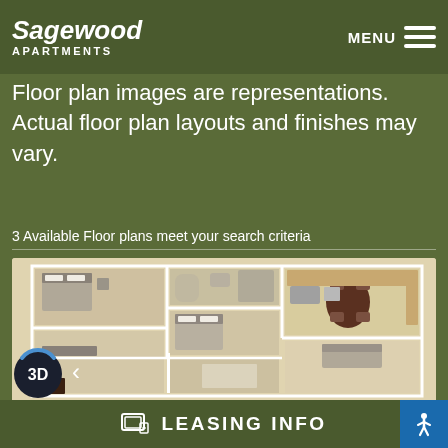Sagewood APARTMENTS
Section 8 Voucher holders. Please call for details.
Floor plan images are representations. Actual floor plan layouts and finishes may vary.
3 Available Floor plans meet your search criteria
[Figure (engineering-diagram): Top-down architectural floor plan rendering showing multiple rooms including bedrooms with beds, a dining area with round dark table, kitchen area, and bathrooms. Rendered in 3D perspective with beige/tan flooring and white walls.]
LEASING INFO